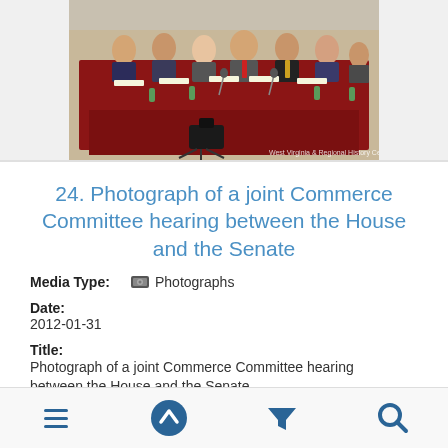[Figure (photo): Photograph of a joint Commerce Committee hearing showing multiple people seated at a large table draped in red cloth, with microphones and water bottles visible. A camera is visible in the foreground. Caption reads 'West Virginia & Regional History Center'.]
24. Photograph of a joint Commerce Committee hearing between the House and the Senate
Media Type: Photographs
Date:
2012-01-31
Title:
Photograph of a joint Commerce Committee hearing between the House and the Senate